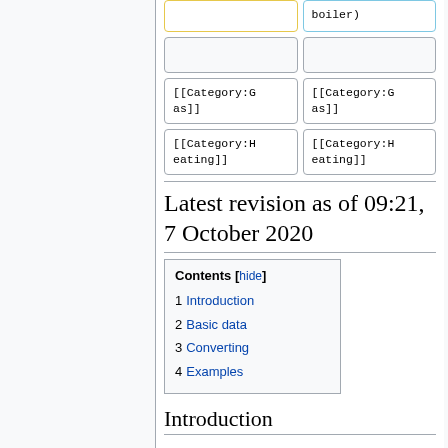|  | boiler) |
|  |  |
| [[Category:Gas]] | [[Category:Gas]] |
| [[Category:Heating]] | [[Category:Heating]] |
Latest revision as of 09:21, 7 October 2020
Contents [hide]
1 Introduction
2 Basic data
3 Converting
4 Examples
Introduction